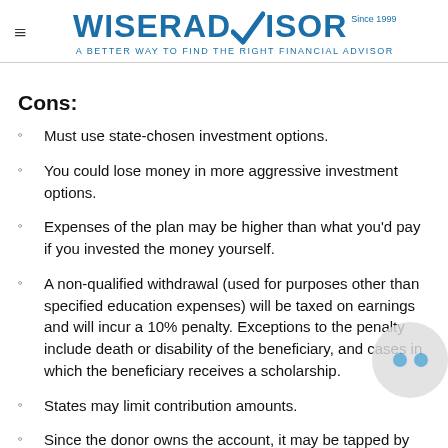WiserAdvisor — A Better Way to Find the Right Financial Advisor
Cons:
Must use state-chosen investment options.
You could lose money in more aggressive investment options.
Expenses of the plan may be higher than what you'd pay if you invested the money yourself.
A non-qualified withdrawal (used for purposes other than specified education expenses) will be taxed on earnings and will incur a 10% penalty. Exceptions to the penalty include death or disability of the beneficiary, and cases in which the beneficiary receives a scholarship.
States may limit contribution amounts.
Since the donor owns the account, it may be tapped by…